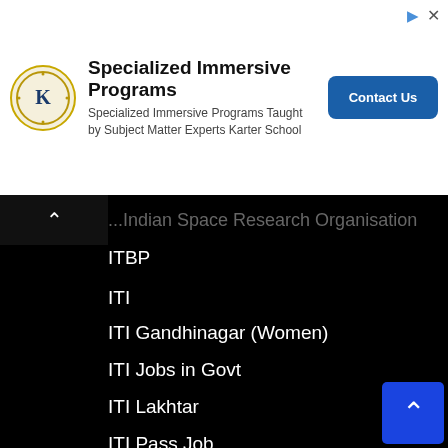[Figure (other): Advertisement banner for Karter School Specialized Immersive Programs with logo, text, and Contact Us button]
ITBP
ITI
ITI Gandhinagar (Women)
ITI Jobs in Govt
ITI Lakhtar
ITI Pass Job
ITI Surendranagar
ITM
Jamkhambhalia
Jamnagar
Jasdan
JAU